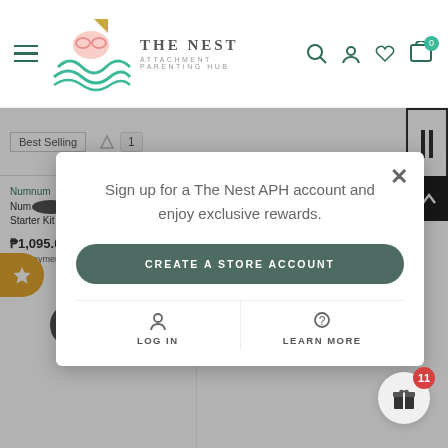[Figure (screenshot): Website header for The Nest Attachment Parenting Hub with logo, navigation hamburger menu, search, account, wishlist, and cart icons]
[Figure (screenshot): Background product listing page showing Best Selling filter, product grid with Numnum Baby Self-Feeding Starter Kit and Oxo Tot Divided Plate]
[Figure (screenshot): Modal popup dialog: Sign up for a The Nest APH account and enjoy exclusive rewards, with CREATE A STORE ACCOUNT button, LOG IN and LEARN MORE options]